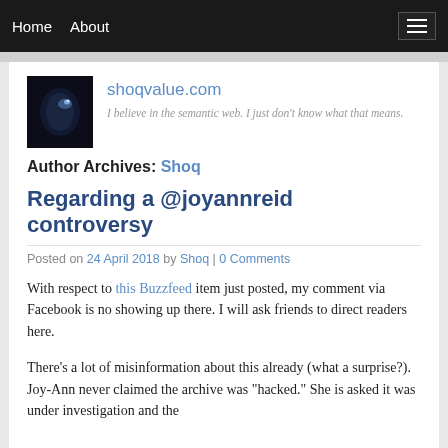Home  About
[Figure (logo): Dark blue/black panther eye logo image for shoqvalue.com]
shoqvalue.com
I believe in the semantic web. I just don't know what that means.
Author Archives: Shoq
Regarding a @joyannreid controversy
Posted on 24 April 2018 by Shoq | 0 Comments
With respect to this Buzzfeed item just posted, my comment via Facebook is no showing up there. I will ask friends to direct readers here.
There's a lot of misinformation about this already (what a surprise?). Joy-Ann never claimed the archive was "hacked." She is asked it was under investigation and the